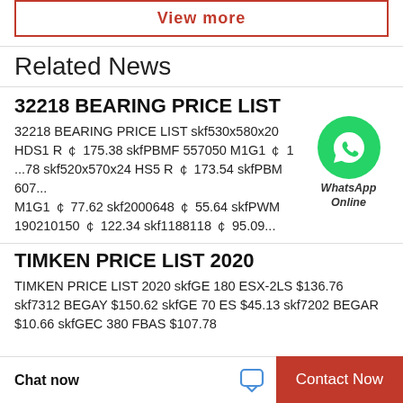View more
Related News
32218 BEARING PRICE LIST
32218 BEARING PRICE LIST skf530x580x20 HDS1 R ￠ 175.38 skfPBMF 557050 M1G1 ￠ 1...78 skf520x570x24 HS5 R ￠ 173.54 skfPBM 607...M1G1 ￠ 77.62 skf2000648 ￠ 55.64 skfPWM 190210150 ￠ 122.34 skf1188118 ￠ 95.09...
[Figure (logo): WhatsApp Online badge with green circle and phone icon]
TIMKEN PRICE LIST 2020
TIMKEN PRICE LIST 2020 skfGE 180 ESX-2LS $136.76 skf7312 BEGAY $150.62 skfGE 70 ES $45.13 skf7202 BEGAR $10.66 skfGEC 380 FBAS $107.78
Chat now   Contact Now